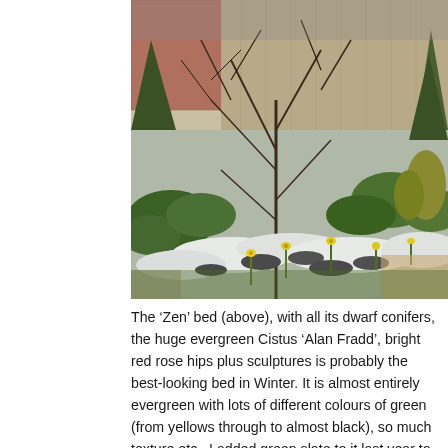[Figure (photo): A garden 'Zen' bed in winter with dwarf conifers, bare branched shrubs, green evergreen plants, snowy ground, and small yellow narcissi flowers emerging, with a brick wall and wooden fence in background.]
The ‘Zen’ bed (above), with all its dwarf conifers, the huge evergreen Cistus ‘Alan Fradd’, bright red rose hips plus sculptures is probably the best-looking bed in Winter. It is almost entirely evergreen with lots of different colours of green (from yellows through to almost black), so much texture etc.. I added green slate to it last year to help keep the woods down and the Narcissi ‘Toto a Toto’ and